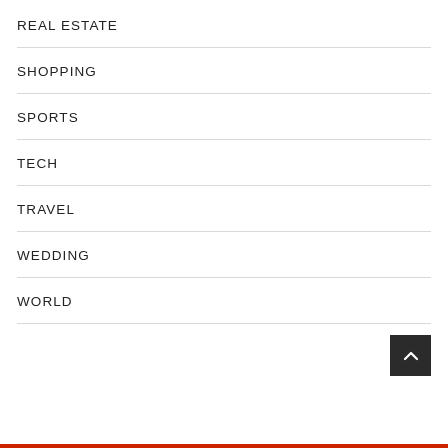REAL ESTATE
SHOPPING
SPORTS
TECH
TRAVEL
WEDDING
WORLD